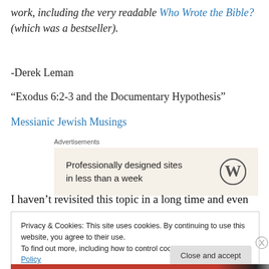work, including the very readable Who Wrote the Bible? (which was a bestseller).
-Derek Leman
“Exodus 6:2-3 and the Documentary Hypothesis”
Messianic Jewish Musings
[Figure (other): Advertisement banner: 'Professionally designed sites in less than a week' with WordPress logo]
I haven’t revisited this topic in a long time and even after I
Privacy & Cookies: This site uses cookies. By continuing to use this website, you agree to their use.
To find out more, including how to control cookies, see here: Cookie Policy